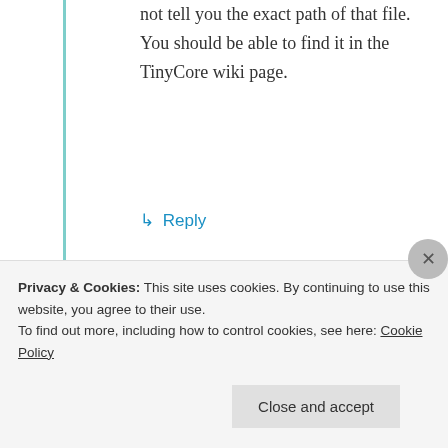not tell you the exact path of that file. You should be able to find it in the TinyCore wiki page.
↵ Reply
Jackie Chen
June 22, 2012 at 8:30 pm
Privacy & Cookies: This site uses cookies. By continuing to use this website, you agree to their use.
To find out more, including how to control cookies, see here: Cookie Policy
Close and accept